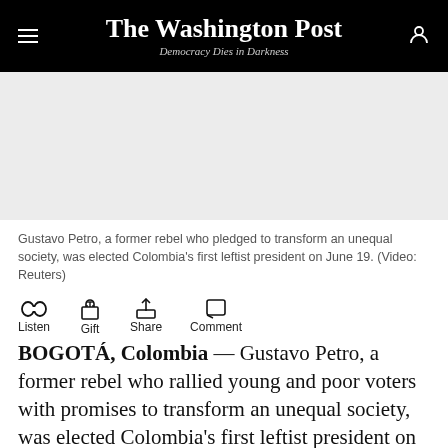The Washington Post — Democracy Dies in Darkness
[Figure (screenshot): Video placeholder area showing a grey/light background, representing a video embed of Gustavo Petro election coverage.]
Gustavo Petro, a former rebel who pledged to transform an unequal society, was elected Colombia's first leftist president on June 19. (Video: Reuters)
Listen Gift Share Comment
BOGOTÁ, Colombia — Gustavo Petro, a former rebel who rallied young and poor voters with promises to transform an unequal society, was elected Colombia's first leftist president on Sunday, in a resounding